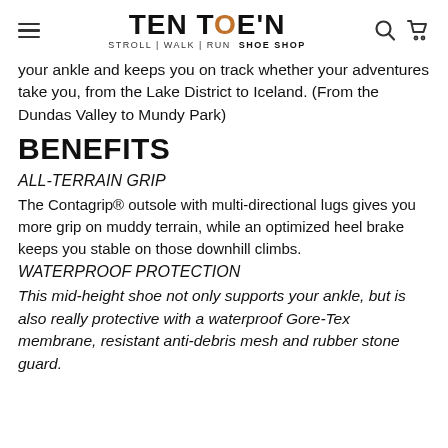TEN TOE'N STROLL | WALK | RUN SHOE SHOP
your ankle and keeps you on track whether your adventures take you, from the Lake District to Iceland. (From the Dundas Valley to Mundy Park)
BENEFITS
ALL-TERRAIN GRIP
The Contagrip® outsole with multi-directional lugs gives you more grip on muddy terrain, while an optimized heel brake keeps you stable on those downhill climbs.
WATERPROOF PROTECTION
This mid-height shoe not only supports your ankle, but is also really protective with a waterproof Gore-Tex membrane, resistant anti-debris mesh and rubber stone guard.